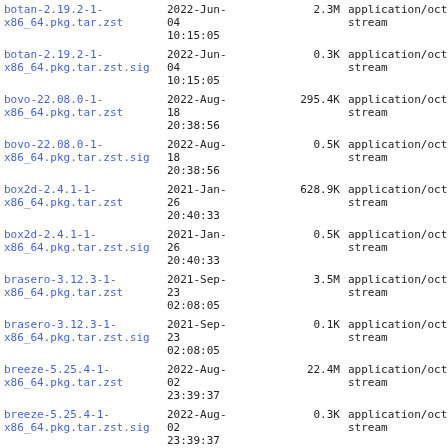| filename | date | size | type |
| --- | --- | --- | --- |
| botan-2.19.2-1-x86_64.pkg.tar.zst | 2022-Jun-04 10:15:05 | 2.3M | application/octet-stream |
| botan-2.19.2-1-x86_64.pkg.tar.zst.sig | 2022-Jun-04 10:15:05 | 0.3K | application/octet-stream |
| bovo-22.08.0-1-x86_64.pkg.tar.zst | 2022-Aug-18 20:38:56 | 295.4K | application/octet-stream |
| bovo-22.08.0-1-x86_64.pkg.tar.zst.sig | 2022-Aug-18 20:38:56 | 0.5K | application/octet-stream |
| box2d-2.4.1-1-x86_64.pkg.tar.zst | 2021-Jan-26 20:40:33 | 628.9K | application/octet-stream |
| box2d-2.4.1-1-x86_64.pkg.tar.zst.sig | 2021-Jan-26 20:40:33 | 0.5K | application/octet-stream |
| brasero-3.12.3-1-x86_64.pkg.tar.zst | 2021-Sep-23 02:08:05 | 3.5M | application/octet-stream |
| brasero-3.12.3-1-x86_64.pkg.tar.zst.sig | 2021-Sep-23 02:08:05 | 0.1K | application/octet-stream |
| breeze-5.25.4-1-x86_64.pkg.tar.zst | 2022-Aug-02 23:39:37 | 22.4M | application/octet-stream |
| breeze-5.25.4-1-x86_64.pkg.tar.zst.sig | 2022-Aug-02 23:39:37 | 0.3K | application/octet-stream |
| breeze-grub-5.25.4-1-... | 2022-Aug-02 | 3.3M | application/octet-stream |